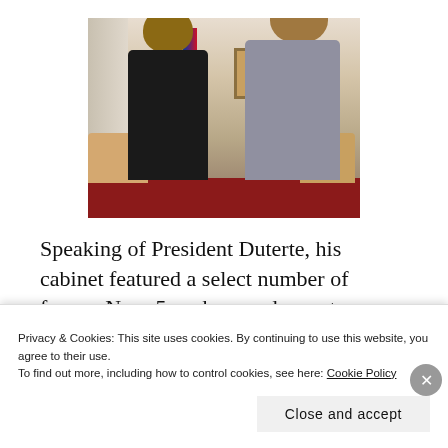[Figure (photo): Two men posing together indoors. The man on the left wears a dark shirt; the man on the right wears a striped button-up shirt. Background includes curtains, a painting on the wall, a Philippine flag, and a sofa. The floor is red.]
Speaking of President Duterte, his cabinet featured a select number of former News5 anchors and reporters. This included PCOO
Privacy & Cookies: This site uses cookies. By continuing to use this website, you agree to their use.
To find out more, including how to control cookies, see here: Cookie Policy
Close and accept